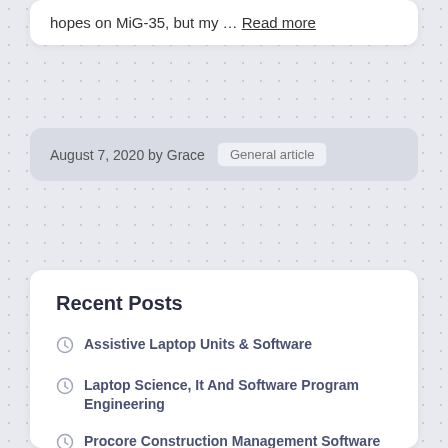hopes on MiG-35, but my … Read more
August 7, 2020 by Grace   General article
Recent Posts
Assistive Laptop Units & Software
Laptop Science, It And Software Program Engineering
Procore Construction Management Software